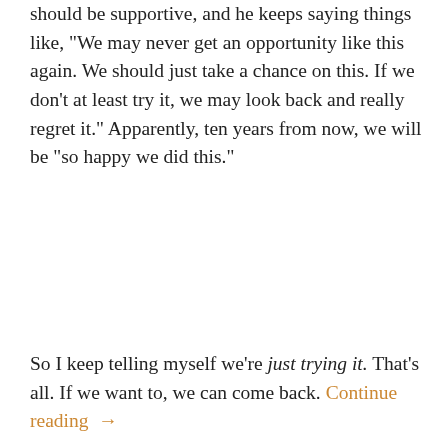should be supportive, and he keeps saying things like, "We may never get an opportunity like this again. We should just take a chance on this. If we don't at least try it, we may look back and really regret it." Apparently, ten years from now, we will be “so happy we did this.”
So I keep telling myself we’re just trying it. That’s all. If we want to, we can come back. Continue reading →
Michigan: My Comfort Zone
Posted by Melissa   Moving   Leave a Comment
[Figure (photo): A green road sign (partially visible showing an 'M') against a blue sky with white clouds]